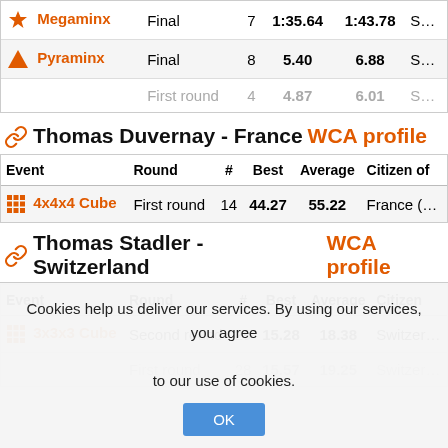| Event | Round | # | Best | Average | Citizen of |
| --- | --- | --- | --- | --- | --- |
| Megaminx | Final | 7 | 1:35.64 | 1:43.78 | S… |
| Pyraminx | Final | 8 | 5.40 | 6.88 | S… |
|  | First round | 4 | 4.87 | 6.01 | S… |
Thomas Duvernay - France WCA profile
| Event | Round | # | Best | Average | Citizen of |
| --- | --- | --- | --- | --- | --- |
| 4x4x4 Cube | First round | 14 | 44.27 | 55.22 | France (… |
Thomas Stadler - Switzerland WCA profile
| Event | Round | # | Best | Average | Citizen |
| --- | --- | --- | --- | --- | --- |
| 3x3x3 Cube | Second round | 29 | 15.28 | 18.38 | Switzer… |
|  | First round | 28 | 15.57 | 19.25 | Switzer… |
Cookies help us deliver our services. By using our services, you agree to our use of cookies.